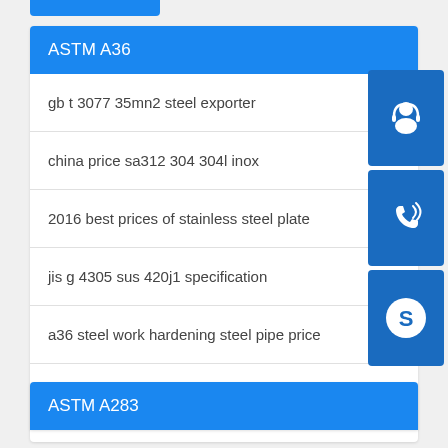ASTM A36
gb t 3077 35mn2 steel exporter
china price sa312 304 304l inox
2016 best prices of stainless steel plate
jis g 4305 sus 420j1 specification
a36 steel work hardening steel pipe price
best price carbon steel seamless pipe with chemical supplier
ASTM A283